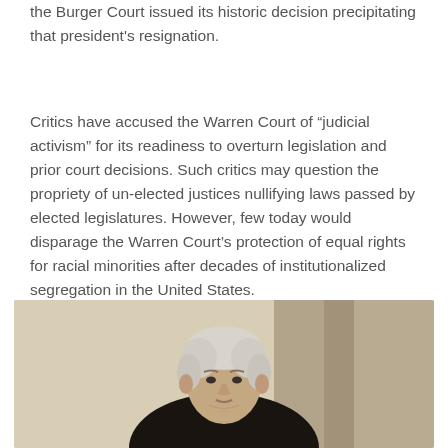the Burger Court issued its historic decision precipitating that president's resignation.
Critics have accused the Warren Court of "judicial activism" for its readiness to overturn legislation and prior court decisions. Such critics may question the propriety of un-elected justices nullifying laws passed by elected legislatures. However, few today would disparage the Warren Court's protection of equal rights for racial minorities after decades of institutionalized segregation in the United States.
[Figure (photo): Portrait photograph of an elderly man with white hair, seated, against a neutral background. The image appears to be a formal portrait, possibly of a Supreme Court Justice.]